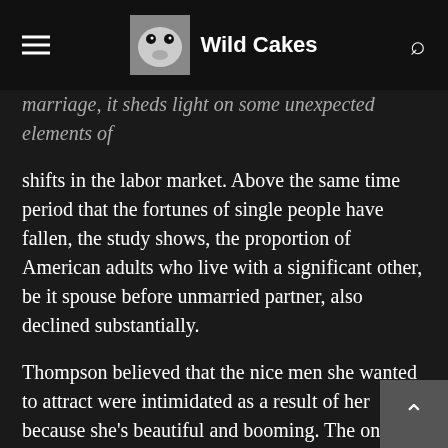Wild Cakes
marriage, it sheds light on some unexpected elements of shifts in the labor market. Above the same time period that the fortunes of single people have fallen, the study shows, the proportion of American adults who live with a significant other, be it spouse before unmarried partner, also declined substantially.
Thompson believed that the nice men she wanted to attract were intimidated as a result of her because she's beautiful and booming. The only men who were attract, she thought, wanted flings and denial commitment. The Monday-iest Monday ever.. Thompson has two children, who are 1 and 5 years old, and she split up with her partner a propos two years ago when she was pregnant. When she started dating, she wasn't really looking for anything acute either,